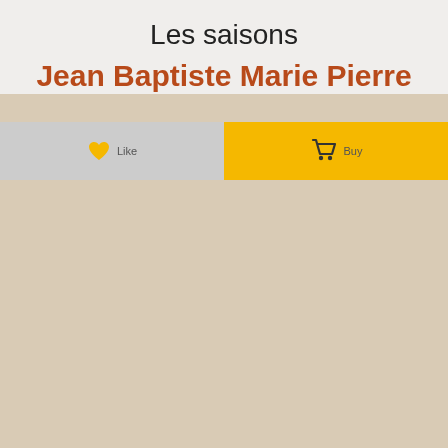Les saisons
Jean Baptiste Marie Pierre
[Figure (screenshot): UI button row with a heart/like button on grey background and a shopping cart/buy button on yellow background]